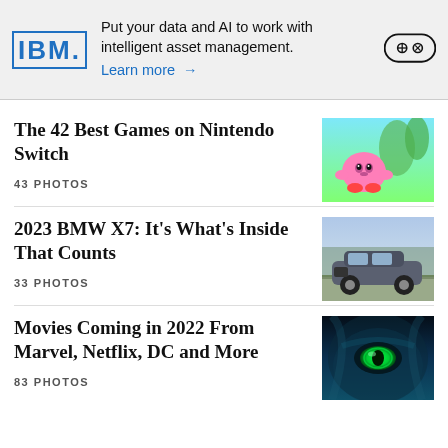[Figure (other): IBM advertisement banner: IBM logo, text 'Put your data and AI to work with intelligent asset management. Learn more →', and a game controller icon]
The 42 Best Games on Nintendo Switch
43 PHOTOS
[Figure (photo): Nintendo Switch game thumbnail showing Kirby character against a green landscape background]
2023 BMW X7: It's What's Inside That Counts
33 PHOTOS
[Figure (photo): BMW X7 SUV parked on a road with green trees in background]
Movies Coming in 2022 From Marvel, Netflix, DC and More
83 PHOTOS
[Figure (photo): Close-up of a blue alien face with glowing green eye, likely from Avatar or similar sci-fi movie]